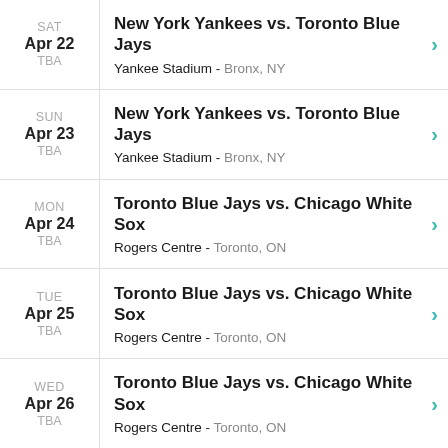SAT Apr 22 TBA | New York Yankees vs. Toronto Blue Jays | Yankee Stadium - Bronx, NY
SUN Apr 23 TBA | New York Yankees vs. Toronto Blue Jays | Yankee Stadium - Bronx, NY
MON Apr 24 TBA | Toronto Blue Jays vs. Chicago White Sox | Rogers Centre - Toronto, ON
TUE Apr 25 TBA | Toronto Blue Jays vs. Chicago White Sox | Rogers Centre - Toronto, ON
WED Apr 26 TBA | Toronto Blue Jays vs. Chicago White Sox | Rogers Centre - Toronto, ON